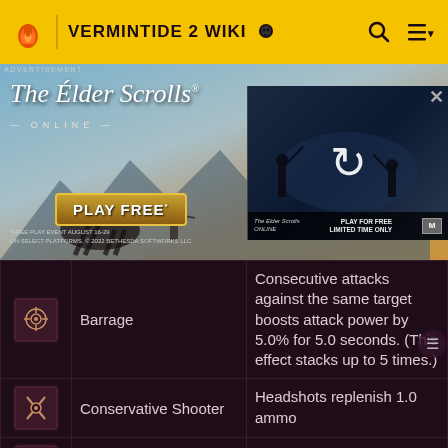VERMINTIDE 2 WIKI
[Figure (screenshot): Advertisement banner for The Elder Scrolls Online showing fantasy battle scene with 'PLAY FREE' button and a video thumbnail overlay with refresh icon]
| Icon | Name | Description |
| --- | --- | --- |
| [Barrage icon] | Barrage | Consecutive attacks against the same target boosts attack power by 5.0% for 5.0 seconds. (This effect stacks up to 5 times.) |
| [Conservative Shooter icon] | Conservative Shooter | Headshots replenish 1.0 ammo |
| [Heat Sink icon] | Heat Sink | Critical hits refund the overcharge cost of the |